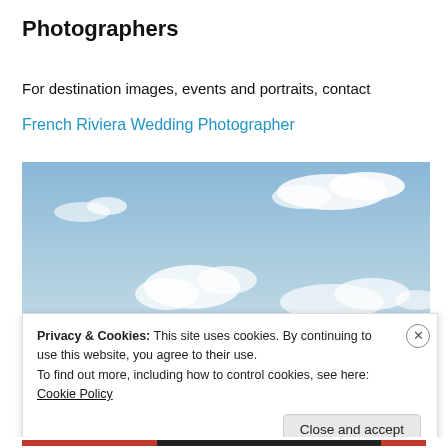Photographers
For destination images, events and portraits, contact
French Riviera Wedding Photographer
[Figure (photo): Outdoor sky photo showing a predominantly blue sky with scattered white clouds. Buildings are faintly visible at the bottom right edge of the image.]
Privacy & Cookies: This site uses cookies. By continuing to use this website, you agree to their use.
To find out more, including how to control cookies, see here: Cookie Policy
Close and accept